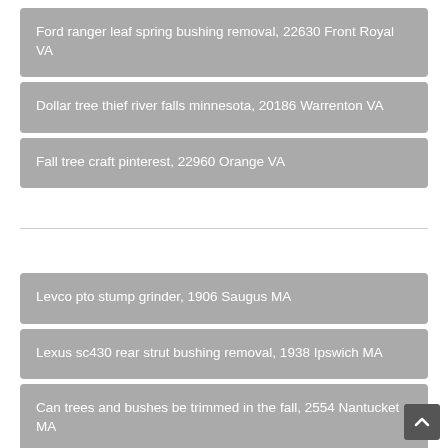Ford ranger leaf spring bushing removal, 22630 Front Royal VA
Dollar tree thief river falls minnesota, 20186 Warrenton VA
Fall tree craft pinterest, 22960 Orange VA
Levco pto stump grinder, 1906 Saugus MA
Lexus sc430 rear strut bushing removal, 1938 Ipswich MA
Can trees and bushes be trimmed in the fall, 2554 Nantucket MA
Why is my rose bush dropping leaves, 1921 Boxford MA